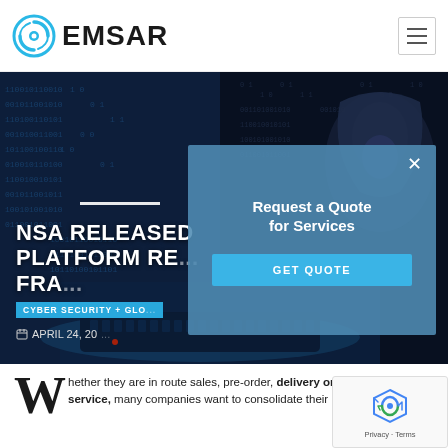[Figure (logo): EMSAR logo with blue circular icon and bold black EMSAR text]
[Figure (photo): Dark cybersecurity hero image showing a hooded hacker at a keyboard with binary code overlay, dark blue tone]
NSA RELEASED PLATFORM RE... FRA...
CYBER SECURITY + GLO...
APRIL 24, 20...
[Figure (infographic): Modal popup overlay: Request a Quote for Services with GET QUOTE button]
Whether they are in route sales, pre-order, delivery or equipment service, many companies want to consolidate their operational route